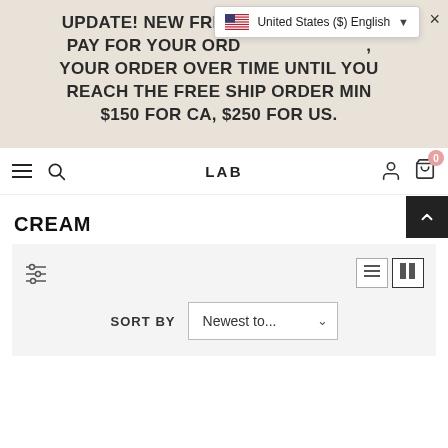UPDATE! NEW FREE SHIPPING RATE PAY FOR YOUR ORDER, then pay for YOUR ORDER OVER TIME UNTIL YOU REACH THE FREE SHIP ORDER MIN $150 FOR CA, $250 FOR US.
United States ($) English
LAB
CREAM
SORT BY  Newest to...